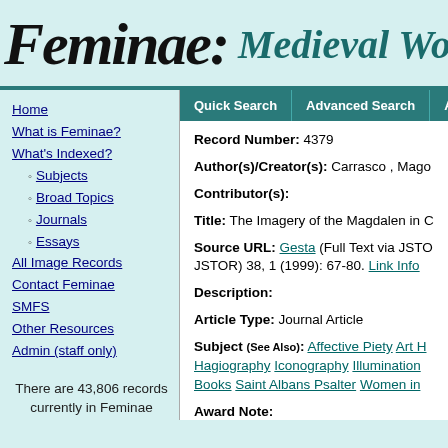Feminae: Medieval Wor
Home
What is Feminae?
What's Indexed?
Subjects
Broad Topics
Journals
Essays
All Image Records
Contact Feminae
SMFS
Other Resources
Admin (staff only)
There are 43,806 records currently in Feminae
Quick Search | Advanced Search | Article of
Record Number: 4379
Author(s)/Creator(s): Carrasco , Mago
Contributor(s):
Title: The Imagery of the Magdalen in C
Source URL: Gesta (Full Text via JSTO JSTOR) 38, 1 (1999): 67-80. Link Info
Description:
Article Type: Journal Article
Subject (See Also): Affective Piety Art H Hagiography Iconography Illumination Books Saint Albans Psalter Women in
Award Note: